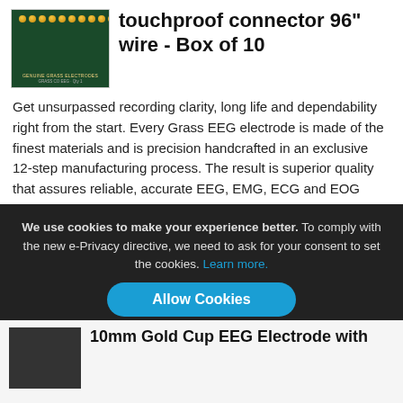[Figure (photo): Product image of EEG electrodes on a dark green background showing multiple gold cup electrodes in a row]
touchproof connector 96" wire - Box of 10
Get unsurpassed recording clarity, long life and dependability right from the start. Every Grass EEG electrode is made of the finest materials and is precision handcrafted in an exclusive 12-step manufacturing process. The result is superior quality that assures reliable, accurate EEG, EMG, ECG and EOG recordings. Learn More
$234.95
As low as $295.55
We use cookies to make your experience better. To comply with the new e-Privacy directive, we need to ask for your consent to set the cookies. Learn more.
Allow Cookies
[Figure (photo): Thumbnail image of another EEG electrode product]
10mm Gold Cup EEG Electrode with